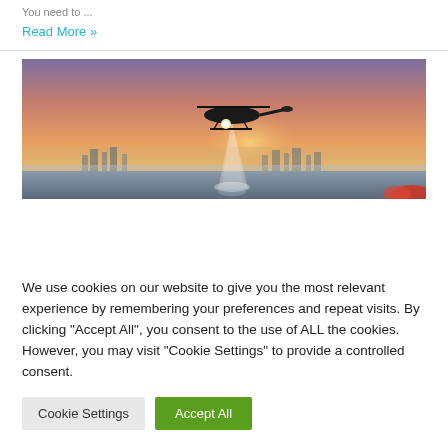You need to ...
Read More »
[Figure (photo): A helicopter flying low over water at sunset with a city skyline in the background, spotlight beam visible below, orange and purple sky.]
We use cookies on our website to give you the most relevant experience by remembering your preferences and repeat visits. By clicking "Accept All", you consent to the use of ALL the cookies. However, you may visit "Cookie Settings" to provide a controlled consent.
Cookie Settings
Accept All